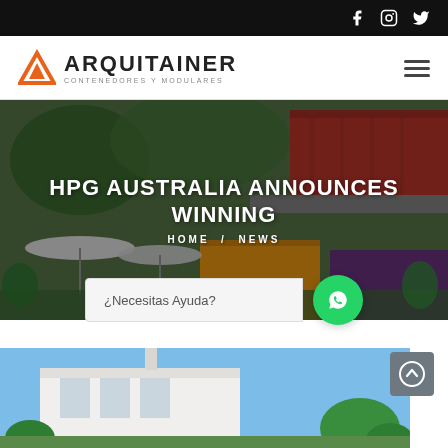Social media icons: Facebook, Instagram, Twitter
[Figure (logo): Arquitainer logo with orange triangle icon and text ARQUITAINER CONTENEDORES Y MODULARES]
[Figure (photo): Hero banner showing colorful shipping container buildings with trees and umbrellas]
HPG AUSTRALIA ANNOUNCES WINNING
HOME / NEWS
¿Necesitas Ayuda?
[Figure (photo): Bottom photo strip showing a modern white building under blue sky with green plants]